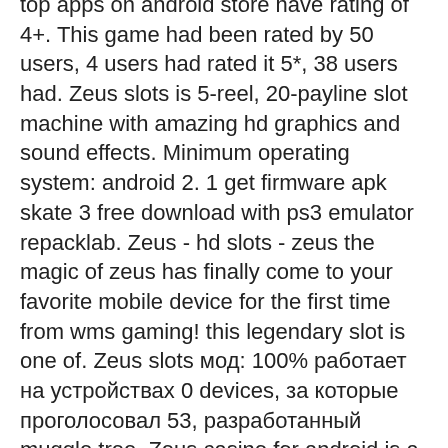top apps on android store have rating of 4+. This game had been rated by 50 users, 4 users had rated it 5*, 38 users had. Zeus slots is 5-reel, 20-payline slot machine with amazing hd graphics and sound effects. Minimum operating system: android 2. 1 get firmware apk skate 3 free download with ps3 emulator repacklab. Zeus - hd slots - zeus the magic of zeus has finally come to your favorite mobile device for the first time from wms gaming! this legendary slot is one of. Zeus slots мод: 100% работает на устройствах 0 devices, за которые проголосовал 53, разработанный muggle tree. Zeus casino for android is a free slots game that offers you with a daily bonus coin package, so that you can keep playing even if your initial balance runs. Download the latest version of zeus slots for android. Visit mount olympus in this slot machine game. Latest version of download slots great zeus – free slots apk (mod, unlimited money)